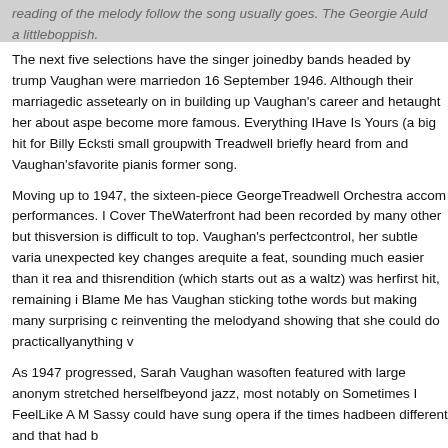reading of the melody follow the song usually goes. The Georgie Auld a littleboppish.
The next five selections have the singer joinedby bands headed by trump Vaughan were marriedon 16 September 1946. Although their marriagedic assetearly on in building up Vaughan's career and hetaught her about aspe become more famous. Everything IHave Is Yours (a big hit for Billy Ecksti small groupwith Treadwell briefly heard from and Vaughan'sfavorite pianis former song.
Moving up to 1947, the sixteen-piece GeorgeTreadwell Orchestra accom performances. I Cover TheWaterfront had been recorded by many other but thisversion is difficult to top. Vaughan's perfectcontrol, her subtle varia unexpected key changes arequite a feat, sounding much easier than it rea and thisrendition (which starts out as a waltz) was herfirst hit, remaining i Blame Me has Vaughan sticking tothe words but making many surprising c reinventing the melodyand showing that she could do practicallyanything v
As 1947 progressed, Sarah Vaughan wasoften featured with large anonym stretched herselfbeyond jazz, most notably on Sometimes I FeelLike A M Sassy could have sung opera if the times hadbeen different and that had b
One can hear the potential on this emotionalperformance. But fortunatel in Sassy's future.